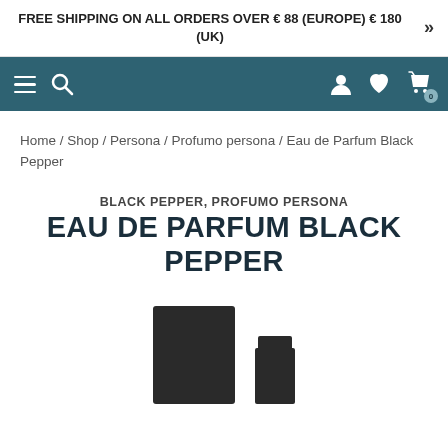FREE SHIPPING ON ALL ORDERS OVER € 88 (EUROPE) € 180 (UK)
[Figure (screenshot): Website navigation bar with hamburger menu, search icon, user icon, heart/wishlist icon, and cart icon with badge showing 0]
Home / Shop / Persona / Profumo persona / Eau de Parfum Black Pepper
BLACK PEPPER, PROFUMO PERSONA
EAU DE PARFUM BLACK PEPPER
[Figure (photo): Product photo showing a dark box and a dark perfume bottle for Eau de Parfum Black Pepper]